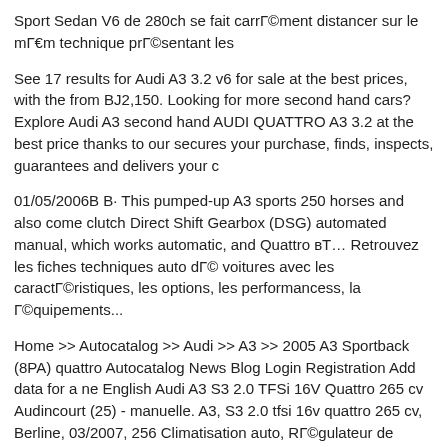Sport Sedan V6 de 280ch se fait carrément distancer sur le même technique présentant les
See 17 results for Audi A3 3.2 v6 for sale at the best prices, with the from BJ2,150. Looking for more second hand cars? Explore Audi A3 second hand AUDI QUATTRO A3 3.2 at the best price thanks to our secures your purchase, finds, inspects, guarantees and delivers your c
01/05/2006B B· This pumped-up A3 sports 250 horses and also come clutch Direct Shift Gearbox (DSG) automated manual, which works automatic, and Quattro вЂ¦ Retrouvez les fiches techniques auto dé voitures avec les caractéristiques, les options, les performancess, la équipements...
Home >> Autocatalog >> Audi >> A3 >> 2005 A3 Sportback (8PA) quattro Autocatalog News Blog Login Registration Add data for a ne English Audi A3 S3 2.0 TFSi 16V Quattro 265 cv Audincourt (25) - manuelle. A3, S3 2.0 tfsi 16v quattro 265 cv, Berline, 03/2007, 256 Climatisation auto, Régulateur de vitesse, Abs, Couleur noir, 9490 16V Quattro вЂ¦